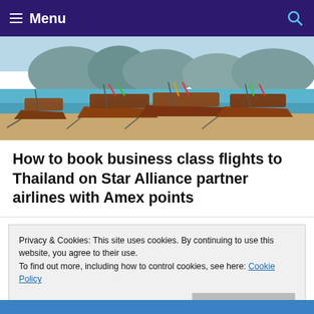Menu
[Figure (photo): Thailand longtail boats on a beach with turquoise water and limestone cliffs in the background]
How to book business class flights to Thailand on Star Alliance partner airlines with Amex points
Privacy & Cookies: This site uses cookies. By continuing to use this website, you agree to their use.
To find out more, including how to control cookies, see here: Cookie Policy
Close and accept